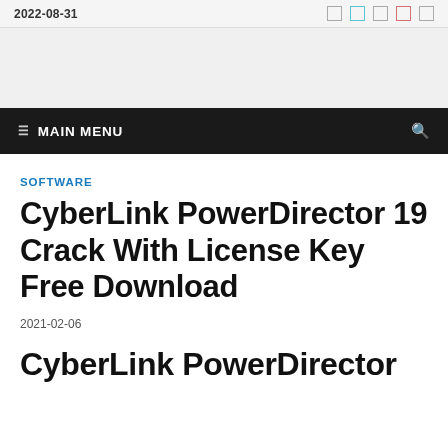2022-08-31
MAIN MENU
SOFTWARE
CyberLink PowerDirector 19 Crack With License Key Free Download
2021-02-06
CyberLink PowerDirector